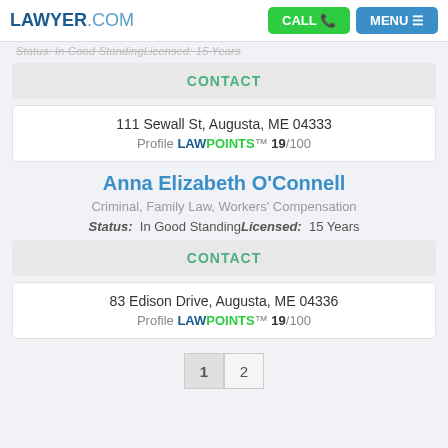LAWYER.COM | CALL | MENU
Status: In Good Standing Licensed: 15 Years
CONTACT
111 Sewall St, Augusta, ME 04333
Profile LAWPOINTS™ 19/100
Anna Elizabeth O'Connell
Criminal, Family Law, Workers' Compensation
Status: In Good Standing Licensed: 15 Years
CONTACT
83 Edison Drive, Augusta, ME 04336
Profile LAWPOINTS™ 19/100
1 2